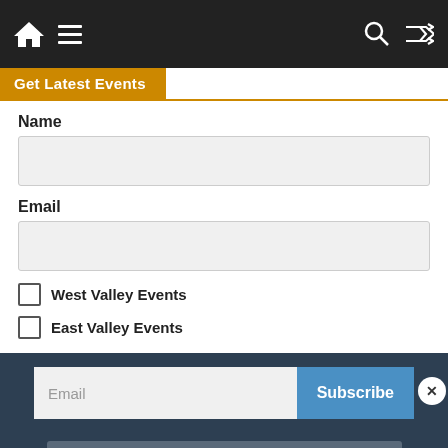Navigation bar with home, menu, search, and shuffle icons
Get Latest Events
Name
Email
West Valley Events
East Valley Events
Email
Subscribe
Subscribe and accept privacy policy